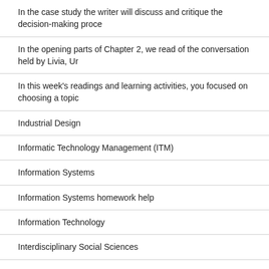In the case study the writer will discuss and critique the decision-making proce
In the opening parts of Chapter 2, we read of the conversation held by Livia, Ur
In this week's readings and learning activities, you focused on choosing a topic
Industrial Design
Informatic Technology Management (ITM)
Information Systems
Information Systems homework help
Information Technology
Interdisciplinary Social Sciences